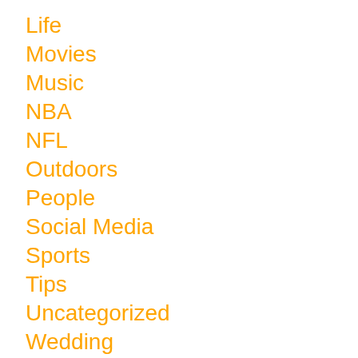Life
Movies
Music
NBA
NFL
Outdoors
People
Social Media
Sports
Tips
Uncategorized
Wedding
World Tech